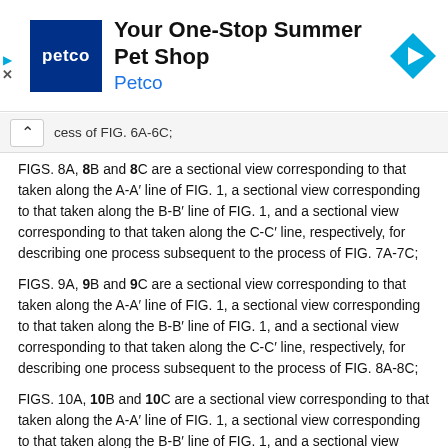[Figure (screenshot): Petco advertisement banner: 'Your One-Stop Summer Pet Shop' with Petco logo and navigation icon]
cess of FIG. 6A-6C;
FIGS. 8A, 8B and 8C are a sectional view corresponding to that taken along the A-A’ line of FIG. 1, a sectional view corresponding to that taken along the B-B’ line of FIG. 1, and a sectional view corresponding to that taken along the C-C’ line, respectively, for describing one process subsequent to the process of FIG. 7A-7C;
FIGS. 9A, 9B and 9C are a sectional view corresponding to that taken along the A-A’ line of FIG. 1, a sectional view corresponding to that taken along the B-B’ line of FIG. 1, and a sectional view corresponding to that taken along the C-C’ line, respectively, for describing one process subsequent to the process of FIG. 8A-8C;
FIGS. 10A, 10B and 10C are a sectional view corresponding to that taken along the A-A’ line of FIG. 1, a sectional view corresponding to that taken along the B-B’ line of FIG. 1, and a sectional view corresponding to that taken along the C-C’ line, respectively, for describing one process subsequent to the taken along the C-C’ line, respectively, for describing one process subsequent to the process of FIG. 9A-9C;